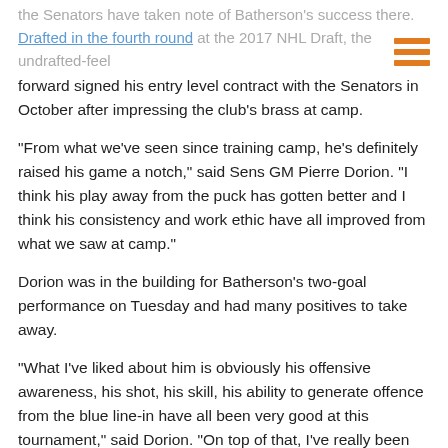the Senators have taken note of Batherson's success there.
Drafted in the fourth round at the 2017 NHL Draft, the undrafted-feel forward signed his entry level contract with the Senators in October after impressing the club's brass at camp.
“From what we’ve seen since training camp, he’s definitely raised his game a notch,” said Sens GM Pierre Dorion. “I think his play away from the puck has gotten better and I think his consistency and work ethic have all improved from what we saw at camp.”
Dorion was in the building for Batherson’s two-goal performance on Tuesday and had many positives to take away.
“What I’ve liked about him is obviously his offensive awareness, his shot, his skill, his ability to generate offence from the blue line-in have all been very good at this tournament,” said Dorion. “On top of that, I’ve really been impressed by his work ethic and his battle for pucks.”
As Batherson looks to take the next step in his hockey career and earn a longer look from the Senators next season, Dorion says the forward will need to work on his size.
“The one thing (he has to do) is get stronger for the pro game,” he said. “Obviously it’s always play away from the puck. We know he’s got the talent